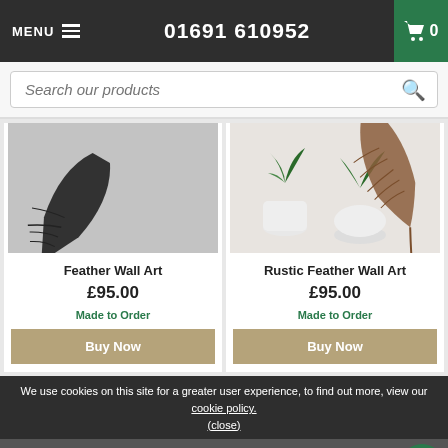MENU  01691 610952  Cart: 0
Search our products
[Figure (photo): Black feather metal wall art on grey stone background]
[Figure (photo): Rustic brown feather wall art with white plant pots and green plants on white background]
Feather Wall Art
£95.00
Made to Order
Buy Now
Rustic Feather Wall Art
£95.00
Made to Order
Buy Now
We use cookies on this site for a greater user experience, to find out more, view our cookie policy.
(close)
[Figure (photo): Partial view of additional product images at bottom, with FREE DELIVERY badge]